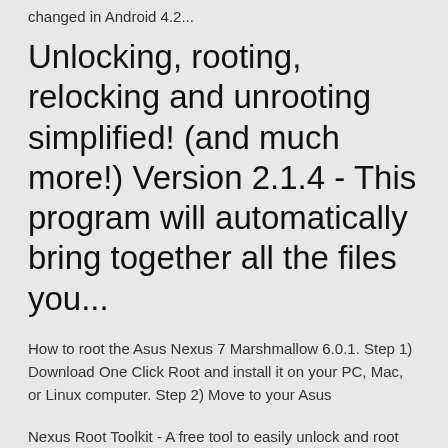changed in Android 4.2...
Unlocking, rooting, relocking and unrooting simplified! (and much more!) Version 2.1.4 - This program will automatically bring together all the files you...
How to root the Asus Nexus 7 Marshmallow 6.0.1. Step 1) Download One Click Root and install it on your PC, Mac, or Linux computer. Step 2) Move to your Asus
Nexus Root Toolkit - A free tool to easily unlock and root Nexus devices. Date: 2016-09-19. OS: Windows XP/Vista/7/8/10 (32-Bit/64-Bit). Downloads: 14167. 27 Aug 2017 Using TWRP 3.0.2